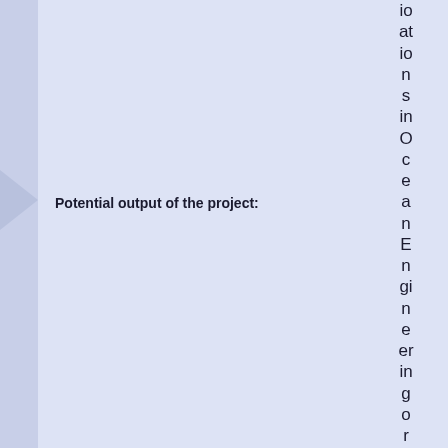Potential output of the project:
ions in Ocean Engineering or other sim